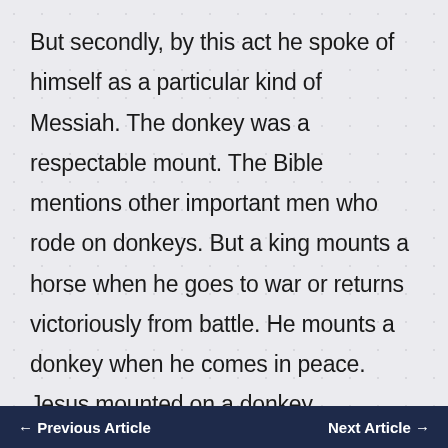But secondly, by this act he spoke of himself as a particular kind of Messiah. The donkey was a respectable mount. The Bible mentions other important men who rode on donkeys. But a king mounts a horse when he goes to war or returns victoriously from battle. He mounts a donkey when he comes in peace. Jesus mounted on a donkey symbolized the fact that he is the prince of peace. He did not come to judge the guilty
← Previous Article    Next Article →